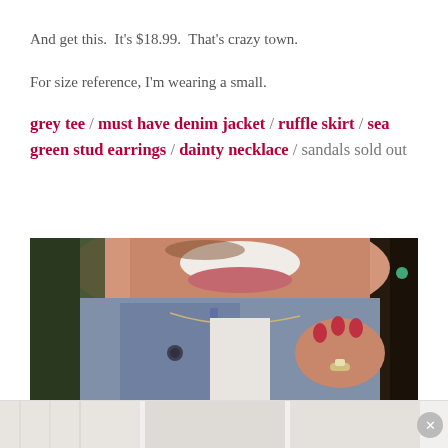And get this.  It's $18.99.  That's crazy town.
For size reference, I'm wearing a small.
grey tee / must have denim jacket / ruffle skirt / sea green stud earrings / dainty necklace / sandals sold out
[Figure (photo): Close-up photo of a woman smiling, wearing a denim jacket over a white top with a dainty necklace, hand holding jacket collar, ring on finger, green earring visible.]
[Figure (photo): Partial advertisement image at bottom of page showing white clothing.]